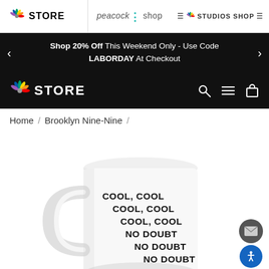NBC STORE | peacock shop | STUDIOS SHOP
Shop 20% Off This Weekend Only - Use Code LABORDAY At Checkout
NBC STORE
Home / Brooklyn Nine-Nine /
[Figure (photo): White ceramic mug with bold black text reading COOL, COOL COOL, COOL COOL, COOL NO DOUBT NO DOUBT NO DOUBT]